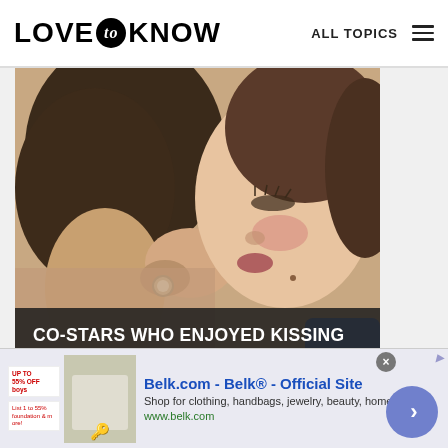LOVE to KNOW   ALL TOPICS
[Figure (photo): Close-up photo of two people kissing, woman with reddish cheeks and dark hair, man with dark hair, woman wearing a ring on her hand]
CO-STARS WHO ENJOYED KISSING EACH OTHER JUST A LITTLE TOO MUCH
[Figure (photo): Partial second photo strip showing two figures, partially cut off at bottom of page]
Belk.com - Belk® - Official Site
Shop for clothing, handbags, jewelry, beauty, home & more!
www.belk.com